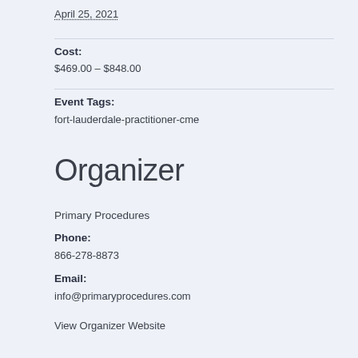April 25, 2021
Cost:
$469.00 – $848.00
Event Tags:
fort-lauderdale-practitioner-cme
Organizer
Primary Procedures
Phone:
866-278-8873
Email:
info@primaryprocedures.com
View Organizer Website